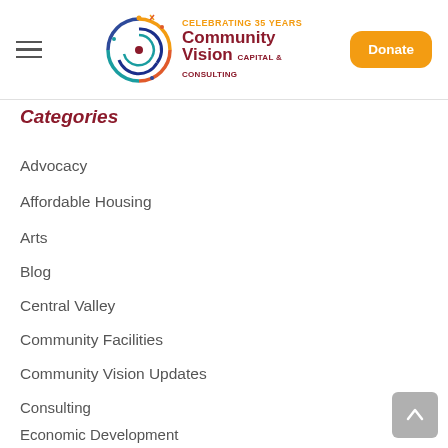Community Vision Capital & Consulting — Celebrating 35 Years | Donate
Categories
Advocacy
Affordable Housing
Arts
Blog
Central Valley
Community Facilities
Community Vision Updates
Consulting
Economic Development
Equity
Fresno